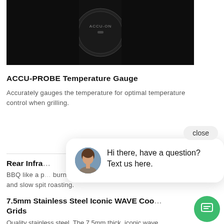[Figure (photo): Dark product photo of an ACCU-PROBE temperature gauge on a grill lid]
ACCU-PROBE Temperature Gauge
Accurately gauges the temperature for optimal temperature control when grilling.
Rear Infra...
BBQ like a p... burner is perfect for high heat searing and slow spit roasting.
7.5mm Stainless Steel Iconic WAVE Cooking Grids
Quality stainless steel. The 7.5mm thick, iconic wave...